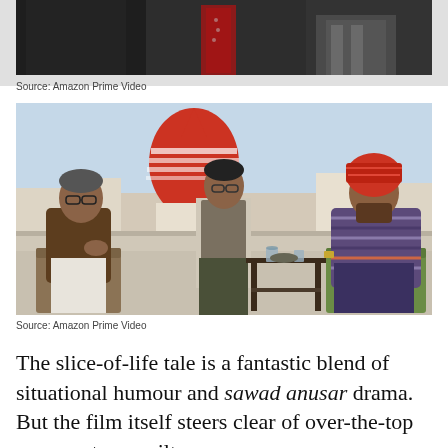[Figure (photo): Film still showing upper portion of people in suits, cropped – from Amazon Prime Video]
Source: Amazon Prime Video
[Figure (photo): Three men on a rooftop with a red temple dome in the background. One man in a brown jacket sits on the left, one man in a vest stands in the center, and one man in a striped kurta with a red turban sits on the right. A small table with glasses is in the center. From Amazon Prime Video.]
Source: Amazon Prime Video
The slice-of-life tale is a fantastic blend of situational humour and sawad anusar drama. But the film itself steers clear of over-the-top comments or guilt-